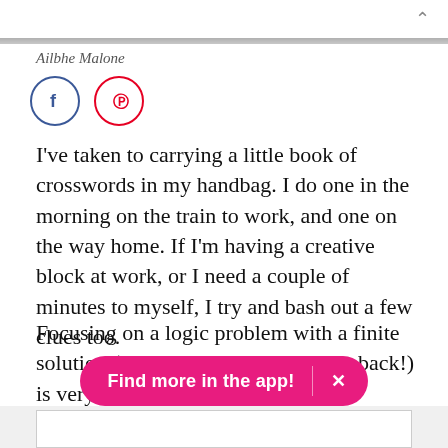Ailbhe Malone
[Figure (illustration): Facebook and Pinterest social sharing icon circles — Facebook (blue outline, f logo) and Pinterest (red outline, p logo)]
I've taken to carrying a little book of crosswords in my handbag. I do one in the morning on the train to work, and one on the way home. If I'm having a creative block at work, or I need a couple of minutes to myself, I try and bash out a few clues too.
Focusing on a logic problem with a finite solution (and a solutions page at the back!) is very reassuring.
Find more in the app!  ×